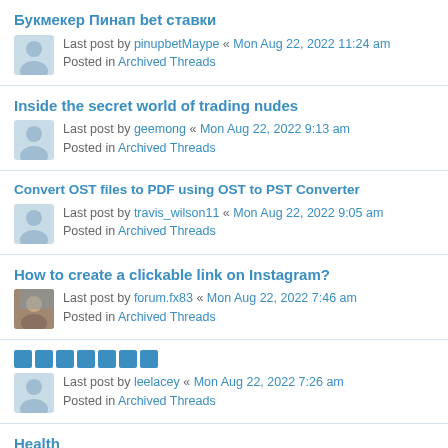Букмекер Пинап bet ставки
Last post by pinupbetMaype « Mon Aug 22, 2022 11:24 am
Posted in Archived Threads
Inside the secret world of trading nudes
Last post by geemong « Mon Aug 22, 2022 9:13 am
Posted in Archived Threads
Convert OST files to PDF using OST to PST Converter
Last post by travis_wilson11 « Mon Aug 22, 2022 9:05 am
Posted in Archived Threads
How to create a clickable link on Instagram?
Last post by forum.fx83 « Mon Aug 22, 2022 7:46 am
Posted in Archived Threads
[blocks title]
Last post by leelacey « Mon Aug 22, 2022 7:26 am
Posted in Archived Threads
Health
Last post by fs3113146 « Mon Aug 22, 2022 6:53 am
Posted in Archived Threads